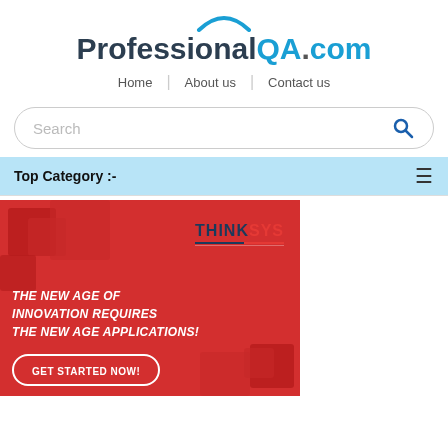[Figure (logo): ProfessionalQA.com website logo with arc graphic above text]
Home | About us | Contact us
Search
Top Category :-
[Figure (photo): ThinkSys advertisement banner on red background with text 'THE NEW AGE OF INNOVATION REQUIRES THE NEW AGE APPLICATIONS!' and a 'GET STARTED NOW!' button]